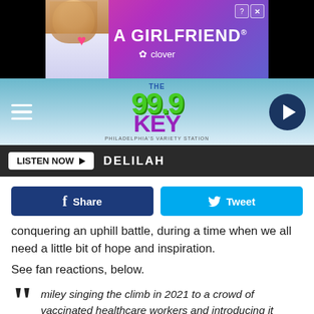[Figure (screenshot): Advertisement banner: 'FIND A GIRLFRIEND' with Clover branding on purple/pink gradient background with woman photo on left]
[Figure (screenshot): Radio station header: The 99.9 Key logo in green on blue gradient background, with hamburger menu on left and play button on right]
LISTEN NOW ▶  DELILAH
Share
Tweet
conquering an uphill battle, during a time when we all need a little bit of hope and inspiration.
See fan reactions, below.
miley singing the climb in 2021 to a crowd of vaccinated healthcare workers and introducing it saying she needs to hear this song so much right now & we're all struggling in our own way this year&